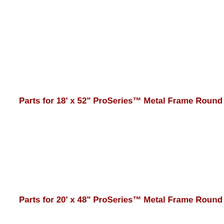Parts for 18' x 52" ProSeries™ Metal Frame Round Pools
Parts for 20' x 48" ProSeries™ Metal Frame Round Pools